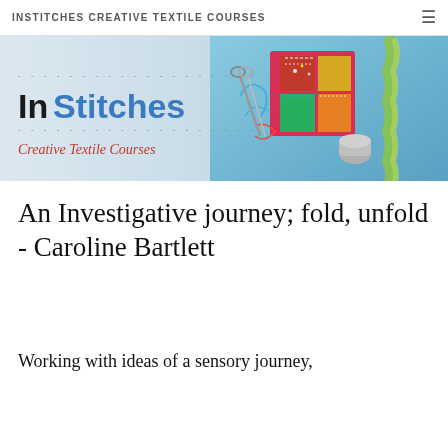INSTITCHES CREATIVE TEXTILE COURSES
[Figure (illustration): InStitches Creative Textile Courses banner with logo text and colorful textile/fabric artwork on the right side including a patchwork piece, scissors, thimble, and braided cord]
An Investigative journey; fold, unfold - Caroline Bartlett
Working with ideas of a sensory journey,